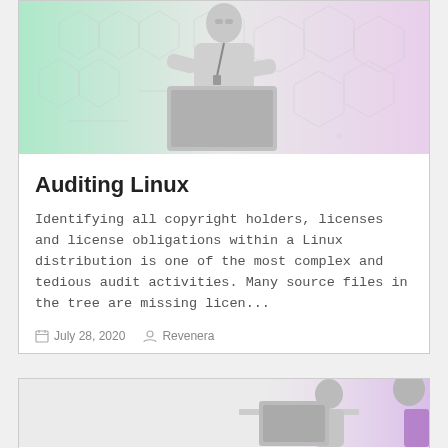[Figure (photo): A man holding a laptop computer with hexagonal network graphic overlay, green tint on left, pink/purple tint on right]
Auditing Linux
Identifying all copyright holders, licenses and license obligations within a Linux distribution is one of the most complex and tedious audit activities. Many source files in the tree are missing licen...
July 28, 2020   Revenera
[Figure (photo): Partial view of people working at a desk, with pink/purple tint on right]